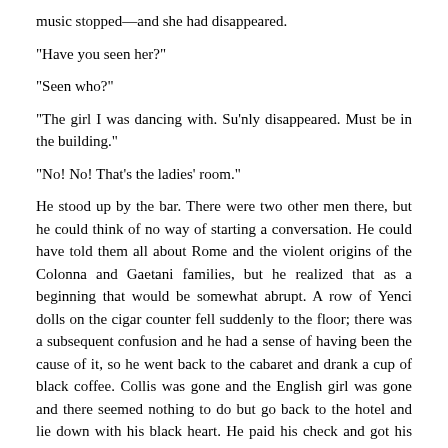music stopped—and she had disappeared.
“Have you seen her?”
“Seen who?”
“The girl I was dancing with. Su’nly disappeared. Must be in the building.”
“No! No! That’s the ladies’ room.”
He stood up by the bar. There were two other men there, but he could think of no way of starting a conversation. He could have told them all about Rome and the violent origins of the Colonna and Gaetani families, but he realized that as a beginning that would be somewhat abrupt. A row of Yenci dolls on the cigar counter fell suddenly to the floor; there was a subsequent confusion and he had a sense of having been the cause of it, so he went back to the cabaret and drank a cup of black coffee. Collis was gone and the English girl was gone and there seemed nothing to do but go back to the hotel and lie down with his black heart. He paid his check and got his hat and coat.
There was dirty water in the gutters and between the rough cobblestones; a marshy vapour from the Campagna, a